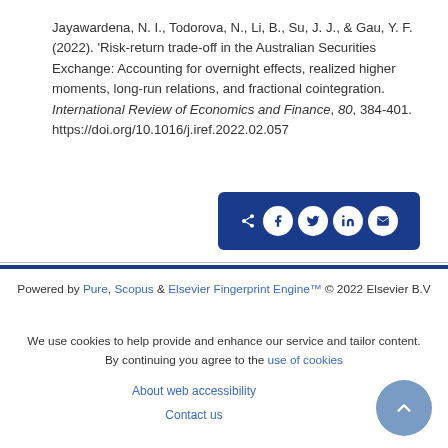Jayawardena, N. I., Todorova, N., Li, B., Su, J. J., & Gau, Y. F. (2022). 'Risk-return trade-off in the Australian Securities Exchange: Accounting for overnight effects, realized higher moments, long-run relations, and fractional cointegration. International Review of Economics and Finance, 80, 384-401. https://doi.org/10.1016/j.iref.2022.02.057
[Figure (infographic): Social share bar with icons for share, Facebook, Twitter, LinkedIn, and email on a dark blue background]
Powered by Pure, Scopus & Elsevier Fingerprint Engine™ © 2022 Elsevier B.V

We use cookies to help provide and enhance our service and tailor content. By continuing you agree to the use of cookies

About web accessibility

Contact us